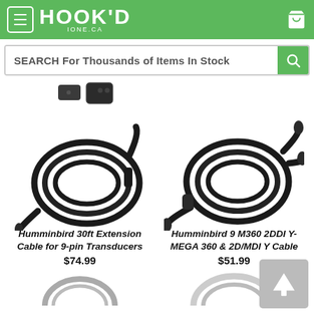[Figure (screenshot): Hook'd website header with green background, hamburger menu, Hook'd logo, and cart icon]
[Figure (screenshot): Search bar with text 'SEARCH For Thousands of Items In Stock' and green search button]
[Figure (photo): Humminbird 30ft Extension Cable for 9-pin Transducers product photo showing coiled black cable with connectors]
Humminbird 30ft Extension Cable for 9-pin Transducers
$74.99
[Figure (photo): Humminbird 9 M360 2DDI Y-MEGA 360 & 2D/MDI Y Cable product photo showing coiled black cable with multiple connectors]
Humminbird 9 M360 2DDI Y-MEGA 360 & 2D/MDI Y Cable
$51.99